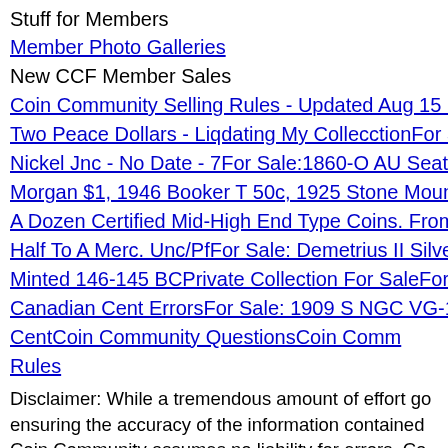Stuff for Members
Member Photo Galleries
New CCF Member Sales
Coin Community Selling Rules - Updated Aug 15 2...
Two Peace Dollars - Liqdating My CollecctionFor S...
Nickel Jnc - No Date - 7For Sale:1860-O AU Seate...
Morgan $1, 1946 Booker T 50c, 1925 Stone Mount...
A Dozen Certified Mid-High End Type Coins. From...
Half To A Merc. Unc/PfFor Sale: Demetrius II Silver...
Minted 146-145 BCPrivate Collection For SaleFor S...
Canadian Cent ErrorsFor Sale: 1909 S NGC VG-10...
CentCoin Community Selling QuestionsCoin Comm... Rules
Disclaimer: While a tremendous amount of effort go... ensuring the accuracy of the information contained... Coin Community assumes no liability for errors. Co... - 2022 Coin Community Family- all rights reserved... Use of any images or content on this website witho...